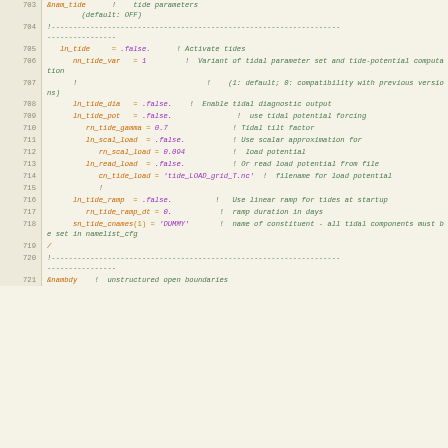703  &nam_tide   !  tide parameters (default: OFF)
704  !---...---
705     ln_tide     = .false.      ! Activate tides
706        nn_tide_var   = 1         !  Variant of tidal parameter set and tide-potential computation
707        !                        !    (1: default; 0: compatibility with previous versions)
708        ln_tide_dia   = .false.    !  Enable tidal diagnostic output
709        ln_tide_pot   = .false.               !  use tidal potential forcing
710           rn_tide_gamma = 0.7               ! Tidal tilt factor
711           ln_scal_load  = .false.           ! Use scalar approximation for
712              rn_scal_load = 0.094           !  load potential
713           ln_read_load  = .false.           ! Or read load potential from file
714              cn_tide_load = 'tide_LOAD_grid_T.nc'  !  filename for load potential
715              !
716        ln_tide_ramp  = .false.          !   Use linear ramp for tides at startup
717           rn_tide_ramp_dt = 0.           !  ramp duration in days
718        sn_tide_cnames(1) = 'DUMMY'       !  name of constituent - all tidal components must be set in namelist_cfg
719  /
720  !---...---
721  &nambdy ... ! unstructured open boundaries